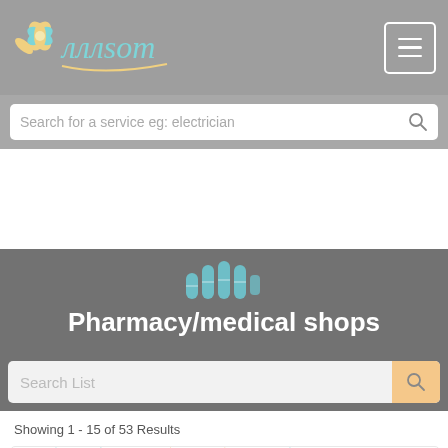лллsom — navigation header with logo and menu button
Search for a service eg: electrician
Pharmacy/medical shops
Search List
Showing 1 - 15 of 53 Results
[Figure (logo): Stylized flower logo with teal cursive text reading лллsom]